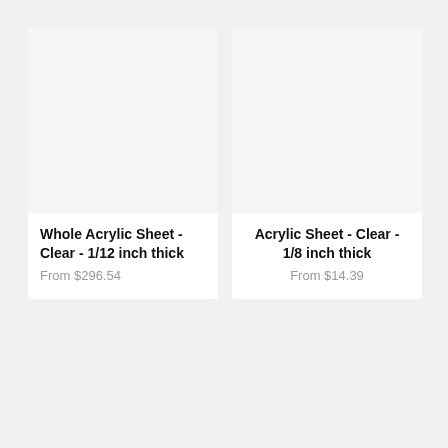[Figure (photo): Product image placeholder — light gray rectangle for Whole Acrylic Sheet - Clear - 1/12 inch thick]
Whole Acrylic Sheet - Clear - 1/12 inch thick
From $296.54
[Figure (photo): Product image placeholder — light gray rectangle for Acrylic Sheet - Clear - 1/8 inch thick]
Acrylic Sheet - Clear - 1/8 inch thick
From $14.39